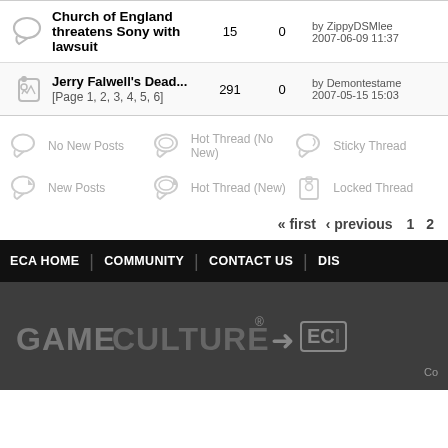Church of England threatens Sony with lawsuit — 15 replies, 0 views, by ZippyDSMlee, 2007-06-09 11:37
Jerry Falwell's Dead... [Page 1, 2, 3, 4, 5, 6] — 291 replies, 0 views, by Demontestame, 2007-05-15 15:03
No New Posts | Hot Thread (No New) | Sticky Thread | New Posts | Hot Thread (New) | Locked Thread
« first ‹ previous 1 2
ECA HOME | COMMUNITY | CONTACT US | DIS
[Figure (logo): GAMECULTURE registered trademark logo with arrow icon and ECI institute logo]
Co...